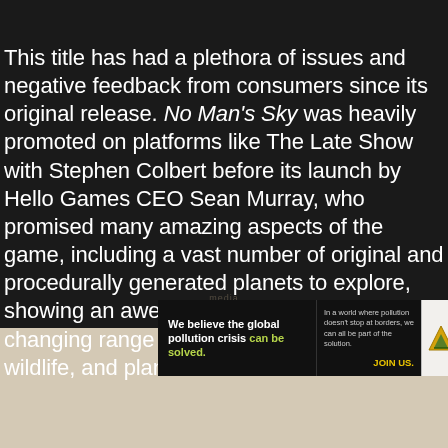This title has had a plethora of issues and negative feedback from consumers since its original release. No Man's Sky was heavily promoted on platforms like The Late Show with Stephen Colbert before its launch by Hello Games CEO Sean Murray, who promised many amazing aspects of the game, including a vast number of original and procedurally generated planets to explore, showing an awe-inspiring and always changing range of varying ecosystems, wildlife, and plant life for
[Figure (other): Advertisement banner for Pure Earth organization. Left dark section reads: 'We believe the global pollution crisis can be solved.' Middle dark section reads: 'In a world where pollution doesn't stop at borders, we can all be part of the solution. JOIN US.' Right white section shows the Pure Earth logo with a diamond/triangle icon and the text 'PURE EARTH'.]